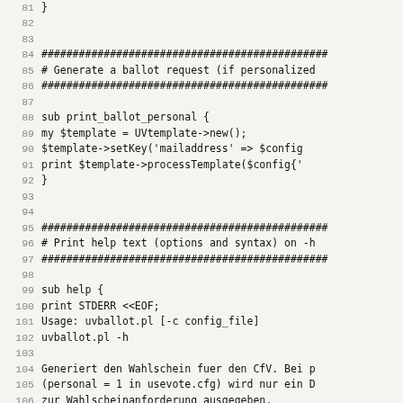Code listing lines 81-113, Perl script uvballot.pl
81  }
82
83
84  ##############################################
85  # Generate a ballot request (if personalized
86  ##############################################
87
88  sub print_ballot_personal {
89    my $template = UVtemplate->new();
90    $template->setKey('mailaddress' => $config
91    print $template->processTemplate($config{'
92  }
93
94
95  ##############################################
96  # Print help text (options and syntax) on -h
97  ##############################################
98
99  sub help {
100   print STDERR <<EOF;
101 Usage: uvballot.pl [-c config_file]
102         uvballot.pl -h
103
104 Generiert den Wahlschein fuer den CfV. Bei p
105 (personal = 1 in usevote.cfg) wird nur ein D
106 zur Wahlscheinanforderung ausgegeben.
107
108   -c config_file    liest die Konfiguration a
109                     (usevote.cfg falls nicht
110
111   -h, --help        zeigt diesen Hilfetext an
112
113 EOF